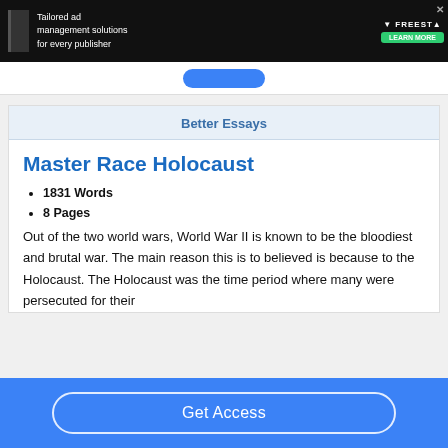[Figure (screenshot): Dark advertisement banner for Freestar ad management solutions]
[Figure (screenshot): Blue button partially visible at top of essay card]
Better Essays
Master Race Holocaust
1831 Words
8 Pages
Out of the two world wars, World War II is known to be the bloodiest and brutal war. The main reason this is to believed is because to the Holocaust. The Holocaust was the time period where many were persecuted for their
Get Access